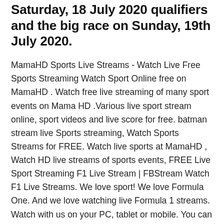Saturday, 18 July 2020 qualifiers and the big race on Sunday, 19th July 2020.
MamaHD Sports Live Streams - Watch Live Free Sports Streaming Watch Sport Online free on MamaHD . Watch free live streaming of many sport events on Mama HD .Various live sport stream online, sport videos and live score for free. batman stream live Sports streaming, Watch Sports Streams for FREE. Watch live sports at MamaHD , Watch HD live streams of sports events, FREE Live Sport Streaming F1 Live Stream | FBStream Watch F1 Live Streams. We love sport! We love Formula One. And we love watching live Formula 1 streams. Watch with us on your PC, tablet or mobile. You can watch with us anywhere. Love F1 facts? Can you answer these questions? Answers are below. Who won his fourth F1 Driver's Championship in 1993? Who holds the record for the most podium finishes? How to watch F1 online for free 2020: Top websites F1...